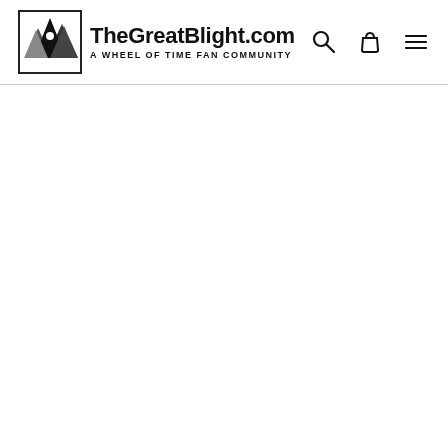TheGreatBlight.com — A WHEEL OF TIME FAN COMMUNITY